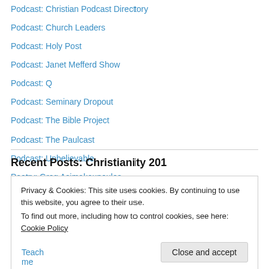Podcast: Christian Podcast Directory
Podcast: Church Leaders
Podcast: Holy Post
Podcast: Janet Mefferd Show
Podcast: Q
Podcast: Seminary Dropout
Podcast: The Bible Project
Podcast: The Paulcast
Podcast: Unbelievable
Poetry: Greg Asimakoupoulos
Recent Posts: Christianity 201
Privacy & Cookies: This site uses cookies. By continuing to use this website, you agree to their use.
To find out more, including how to control cookies, see here: Cookie Policy
Close and accept
Teach me